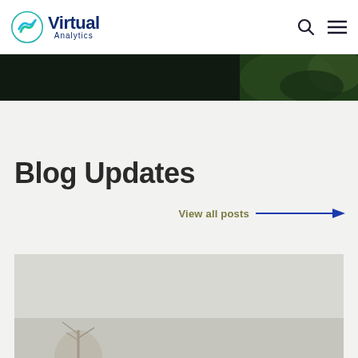Virtual Analytics — navigation header with logo, search icon, and menu icon
[Figure (photo): Dark landscape photo strip showing dark foliage and trees against a dark background]
Blog Updates
View all posts →
[Figure (photo): Light foggy landscape photo with a bare tree silhouette at the bottom]